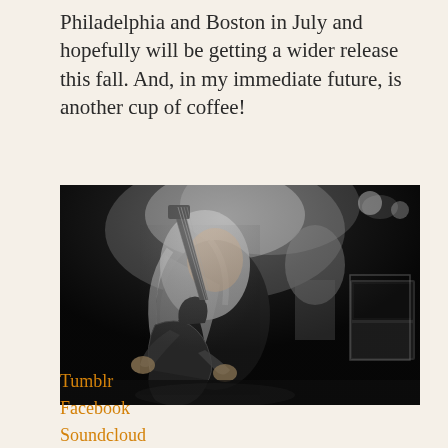Philadelphia and Boston in July and hopefully will be getting a wider release this fall. And, in my immediate future, is another cup of coffee!
[Figure (photo): Black and white concert photo of a female guitarist with long blonde hair playing an electric bass guitar on stage, with another musician visible in the background and stage lighting/equipment visible.]
Tumblr
Facebook
Soundcloud